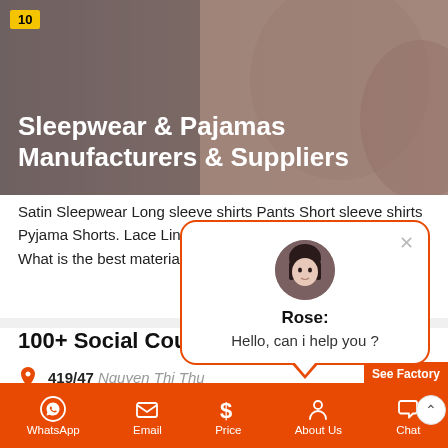[Figure (photo): Hero banner image showing sleepwear/pajamas products with dark overlay, numbered badge '10', and white title text]
Sleepwear & Pajamas Manufacturers & Suppliers
Satin Sleepwear Long sleeve shirts Pants Short sleeve shirts Pyjama Shorts. Lace Lingerie Underwire Bras Underwear. What is the best materia... Readmore
100+ Social Counte
419/47 Nguyen Thi Thu
32 Pho Quang St. Office
[Figure (screenshot): Chat popup dialog with avatar of Rose, text 'Hello, can i help you ?', orange border, and close X button]
WhatsApp  Email  Price  About Us  Chat